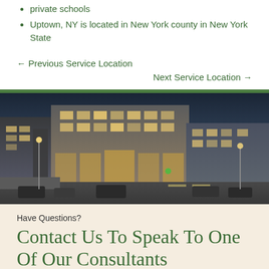private schools
Uptown, NY is located in New York county in New York State
← Previous Service Location
Next Service Location →
[Figure (photo): Aerial/elevated view of a large brick commercial building at a city street corner at dusk, with illuminated windows and city traffic]
Have Questions?
Contact Us To Speak To One Of Our Consultants